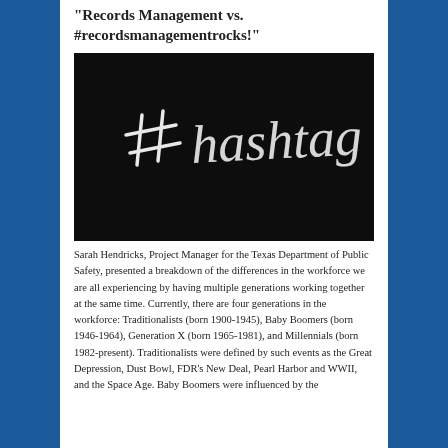“Records Management vs. #recordsmanagementrocks!”
[Figure (photo): Photograph of a blackboard with '#hashtag' written in chalk in white handwriting on a dark background.]
Sarah Hendricks, Project Manager for the Texas Department of Public Safety, presented a breakdown of the differences in the workforce we are all experiencing by having multiple generations working together at the same time.  Currently, there are four generations in the workforce: Traditionalists (born 1900-1945), Baby Boomers (born 1946-1964), Generation X (born 1965-1981), and Millennials (born 1982-present).  Traditionalists were defined by such events as the Great Depression, Dust Bowl, FDR’s New Deal, Pearl Harbor and WWII, and the Space Age.  Baby Boomers were influenced by the